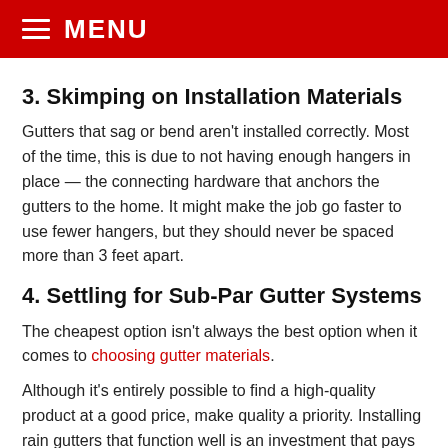MENU
3. Skimping on Installation Materials
Gutters that sag or bend aren't installed correctly. Most of the time, this is due to not having enough hangers in place — the connecting hardware that anchors the gutters to the home. It might make the job go faster to use fewer hangers, but they should never be spaced more than 3 feet apart.
4. Settling for Sub-Par Gutter Systems
The cheapest option isn't always the best option when it comes to choosing gutter materials.
Although it's entirely possible to find a high-quality product at a good price, make quality a priority. Installing rain gutters that function well is an investment that pays off over the long term.
5. Not Prioritizing Seam Reduction
Your goal should be to have as few seams as possible in the system. Seams create weak links, giving the gutters the